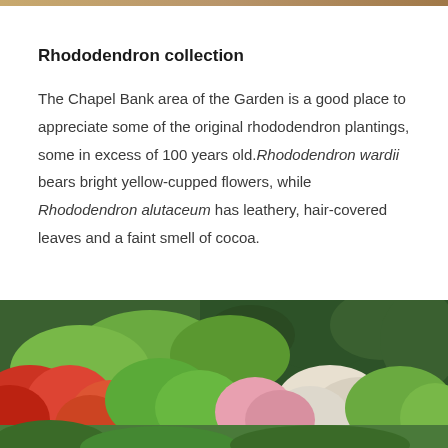Rhododendron collection
The Chapel Bank area of the Garden is a good place to appreciate some of the original rhododendron plantings, some in excess of 100 years old. Rhododendron wardii bears bright yellow-cupped flowers, while Rhododendron alutaceum has leathery, hair-covered leaves and a faint smell of cocoa.
[Figure (photo): Photograph of rhododendron garden in bloom showing colorful red, pink, orange, and white flowering shrubs with green foliage and tall trees in the background.]